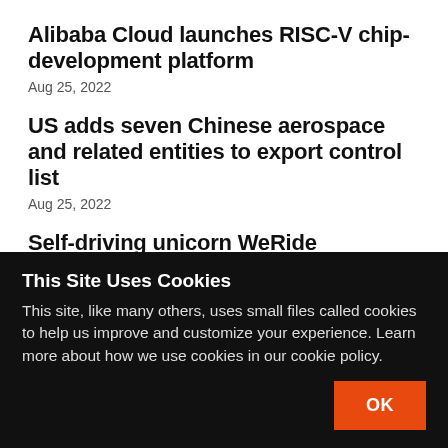Alibaba Cloud launches RISC-V chip-development platform
Aug 25, 2022
US adds seven Chinese aerospace and related entities to export control list
Aug 25, 2022
Self-driving unicorn WeRide reportedly eyes $500 million IPO
Aug 25, 2022
This Site Uses Cookies
This site, like many others, uses small files called cookies to help us improve and customize your experience. Learn more about how we use cookies in our cookie policy.